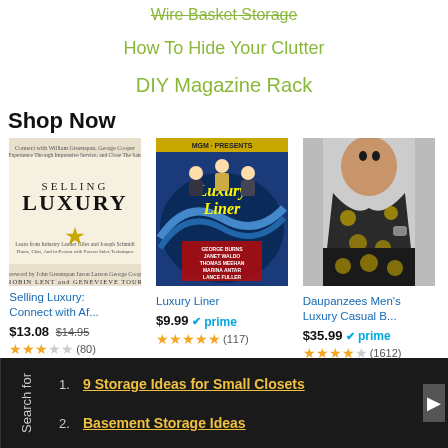Wire Basket Storage
How To Hide Your Clutter
DIY Magazine Rack
Shop Now
[Figure (photo): Book cover: Selling Luxury: Connect with Af...]
Selling Luxury: Connect with Af...
$13.08 $14.95
★★★☆☆ (80)
[Figure (photo): Movie cover: Luxury Liner]
Luxury Liner
$9.99 ✓prime
★★★★★ (117)
[Figure (photo): Product photo: Daupanzees Men's Luxury Casual B...]
Daupanzees Men's Luxury Casual B...
$35.99 ✓prime
★★★★☆ (1612)
Search for
1. 9 Storage Ideas for Small Closets
2. Basement Storage Ideas